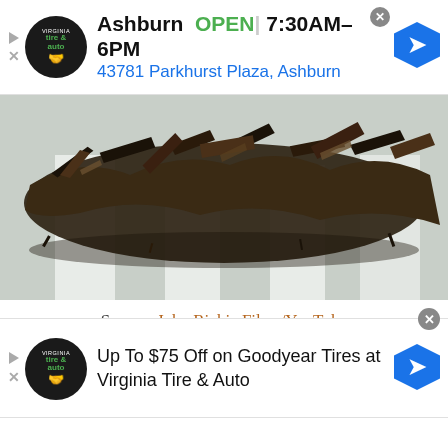[Figure (screenshot): Top advertisement banner for Virginia Tire & Auto, Ashburn location. Shows logo, OPEN status, hours 7:30AM–6PM, address 43781 Parkhurst Plaza, Ashburn, with navigation arrow icon.]
[Figure (photo): Photo of a large pile of scrapped guns and metal debris arranged in a sculptural heap against a white/grey background.]
Source: John Richie Films/YouTube
This 2016 documentary was created by John Richie. The movie was named after a poll that
[Figure (screenshot): Bottom advertisement banner for Virginia Tire & Auto: Up To $75 Off on Goodyear Tires at Virginia Tire & Auto, with logo and navigation arrow icon.]